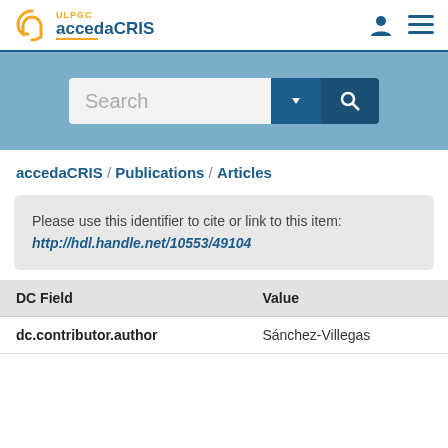ULPGC accedaCRIS
[Figure (screenshot): Search bar with dropdown and search button on blue banner background]
accedaCRIS / Publications / Articles
Please use this identifier to cite or link to this item: http://hdl.handle.net/10553/49104
| DC Field | Value |
| --- | --- |
| dc.contributor.author | Sánchez-Villegas |